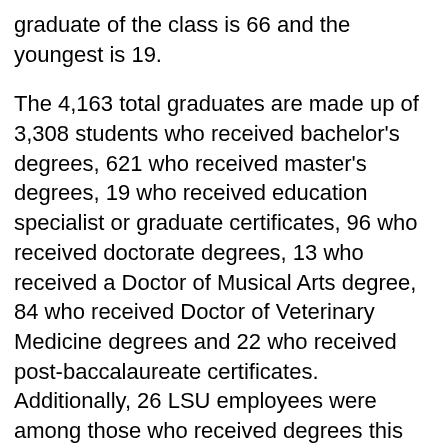graduate of the class is 66 and the youngest is 19.
The 4,163 total graduates are made up of 3,308 students who received bachelor's degrees, 621 who received master's degrees, 19 who received education specialist or graduate certificates, 96 who received doctorate degrees, 13 who received a Doctor of Musical Arts degree, 84 who received Doctor of Veterinary Medicine degrees and 22 who received post-baccalaureate certificates. Additionally, 26 LSU employees were among those who received degrees this spring.
LSU President F. King Alexander presided over the main ceremony and Louisiana Governor John Bel Edwards delivered the keynote address.
Our future looks very, very bright from here," Edwards said. "It's noteworthy that this class has broken numerous records this year."
Edwards noted that the spring 2017 class included the most TOPS recipients of any graduating class since the